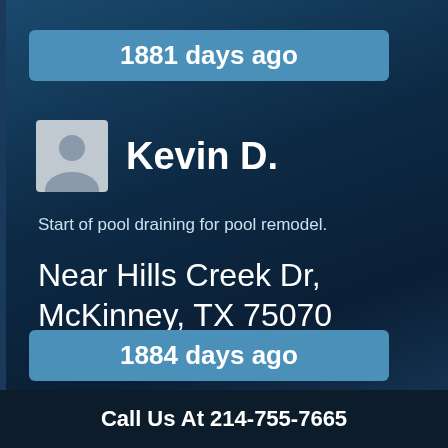1881 days ago
Kevin D.
Start of pool draining for pool remodel.
Near Hills Creek Dr, McKinney, TX 75070
1884 days ago
Call Us At 214-755-7665